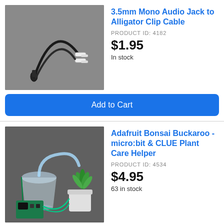[Figure (photo): 3.5mm mono audio jack to alligator clip cable on grey background]
3.5mm Mono Audio Jack to Alligator Clip Cable
PRODUCT ID: 4182
$1.95
In stock
Add to Cart
[Figure (photo): Adafruit Bonsai Buckaroo plant care helper with micro:bit, glass of water, and small succulent plant]
Adafruit Bonsai Buckaroo - micro:bit & CLUE Plant Care Helper
PRODUCT ID: 4534
$4.95
63 in stock